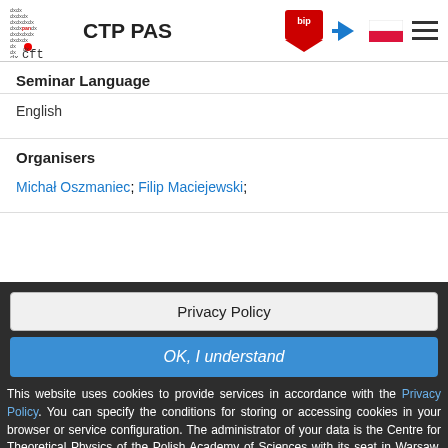CTP PAS
Seminar Language
English
Organisers
Michał Oszmaniec; Filip Maciejewski;
Privacy Policy
OK, I understand
This website uses cookies to provide services in accordance with the Privacy Policy. You can specify the conditions for storing or accessing cookies in your browser or service configuration. The administrator of your data is the Centre for Theoretical Physics of the Polish Academy of Sciences with its seat in Warsaw, Al. Lotników 32/46. In matters related to your data, you should contact with the Inspector of Data Protection, e-mail: iod(a)cft.edu.pl